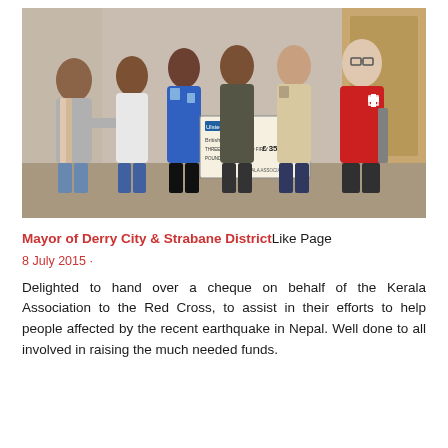[Figure (photo): Six people standing in a room posing for a photo. Five women of South Asian appearance and one man wearing a red British Red Cross vest. Two people in the center are holding a large Ulster Bank cheque made out to British Red Cross for £350, signed by Kerala Association.]
Mayor of Derry City & Strabane DistrictLike Page
8 July 2015 ·
Delighted to hand over a cheque on behalf of the Kerala Association to the Red Cross, to assist in their efforts to help people affected by the recent earthquake in Nepal. Well done to all involved in raising the much needed funds.